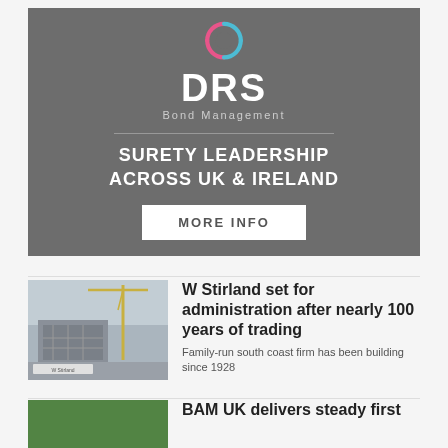[Figure (logo): DRS Bond Management advertisement banner. Features circular logo in pink and teal, large DRS text, 'Bond Management' subtitle, tagline 'SURETY LEADERSHIP ACROSS UK & IRELAND', and a 'MORE INFO' button on grey background.]
[Figure (photo): Construction site photo showing a crane and building works, with a W Stirland sign visible at the bottom left.]
W Stirland set for administration after nearly 100 years of trading
Family-run south coast firm has been building since 1928
[Figure (photo): Green background thumbnail photo, partially visible, associated with BAM UK article.]
BAM UK delivers steady first